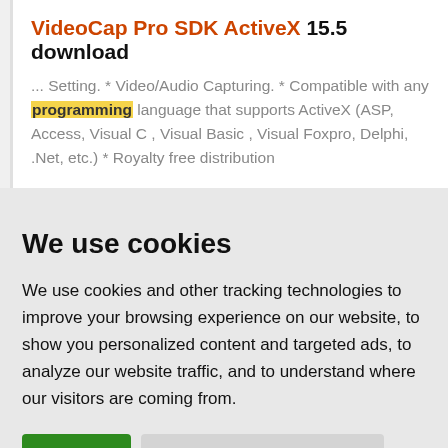VideoCap Pro SDK ActiveX 15.5 download
... Setting. * Video/Audio Capturing. * Compatible with any programming language that supports ActiveX (ASP, Access, Visual C , Visual Basic , Visual Foxpro, Delphi, .Net, etc.) * Royalty free distribution
We use cookies
We use cookies and other tracking technologies to improve your browsing experience on our website, to show you personalized content and targeted ads, to analyze our website traffic, and to understand where our visitors are coming from.
I agree | Change my preferences